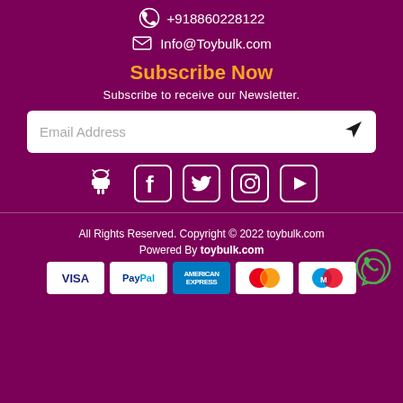+918860228122
Info@Toybulk.com
Subscribe Now
Subscribe to receive our Newsletter.
Email Address
[Figure (infographic): Social media icons: Android, Facebook, Twitter, Instagram, YouTube]
All Rights Reserved. Copyright © 2022 toybulk.com
Powered By toybulk.com
[Figure (infographic): Payment method logos: VISA, PayPal, American Express, MasterCard, Maestro]